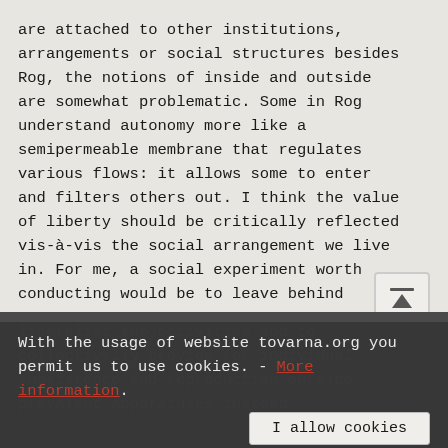are attached to other institutions, arrangements or social structures besides Rog, the notions of inside and outside are somewhat problematic. Some in Rog understand autonomy more like a semipermeable membrane that regulates various flows: it allows some to enter and filters others out. I think the value of liberty should be critically reflected vis-à-vis the social arrangement we live in. For me, a social experiment worth conducting would be to leave behind liberalist subjectivities and to collectivelly provide for individual subsistence and reproduction outside prevalent apparatuses instead.
With the usage of website tovarna.org you permit us to use cookies. - More information.
I allow cookies